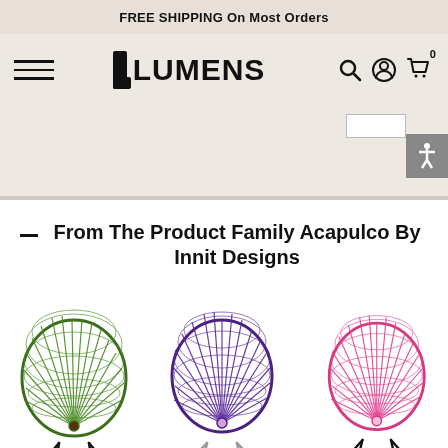FREE SHIPPING On Most Orders
[Figure (logo): Lumens logo with stylized L accent and bold LUMENS text, navigation icons (search, account, cart) and hamburger menu]
From The Product Family Acapulco By Innit Designs
[Figure (photo): Three Acapulco-style wire woven chairs: green with black frame, purple with silver frame, pink (partially visible) with black frame]